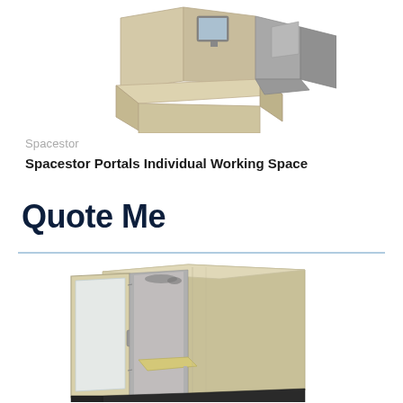[Figure (photo): 3D render of Spacestor Portals Individual Working Space desk unit shown from above/side angle, beige/cream colored with grey chair/storage element]
Spacestor
Spacestor Portals Individual Working Space
Quote Me
[Figure (photo): 3D render of a Spacestor private phone booth / pod with open glass door, beige exterior, grey interior walls, small shelf/desk inside, black base frame]